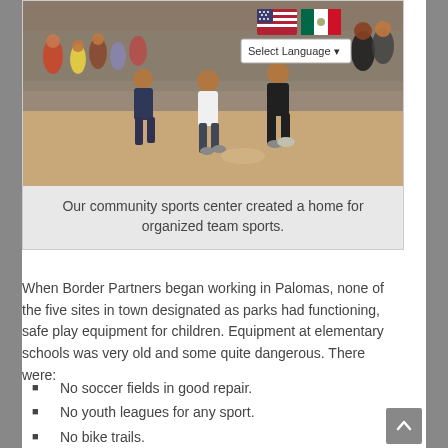[Figure (photo): Photo of people playing soccer on a dirt field, with spectators watching in the background. A language selector UI element with US and Mexican flags is overlaid on the top right of the image.]
Our community sports center created a home for organized team sports.
When Border Partners began working in Palomas, none of the five sites in town designated as parks had functioning, safe play equipment for children. Equipment at elementary schools was very old and some quite dangerous. There were:
No soccer fields in good repair.
No youth leagues for any sport.
No bike trails.
Few sidewalks.